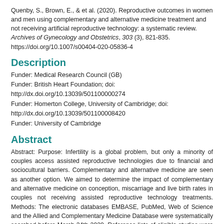Quenby, S., Brown, E., & et al. (2020). Reproductive outcomes in women and men using complementary and alternative medicine treatment and not receiving artificial reproductive technology: a systematic review. Archives of Gynecology and Obstetrics, 303 (3), 821-835. https://doi.org/10.1007/s00404-020-05836-4
Description
Funder: Medical Research Council (GB)
Funder: British Heart Foundation; doi: http://dx.doi.org/10.13039/501100000274
Funder: Homerton College, University of Cambridge; doi: http://dx.doi.org/10.13039/501100008420
Funder: University of Cambridge
Abstract
Abstract: Purpose: Infertility is a global problem, but only a minority of couples access assisted reproductive technologies due to financial and sociocultural barriers. Complementary and alternative medicine are seen as another option. We aimed to determine the impact of complementary and alternative medicine on conception, miscarriage and live birth rates in couples not receiving assisted reproductive technology treatments. Methods: The electronic databases EMBASE, PubMed, Web of Science and the Allied and Complementary Medicine Database were systematically searched before March 24th 2020. Reference lists of eligible studies were searched for relevant